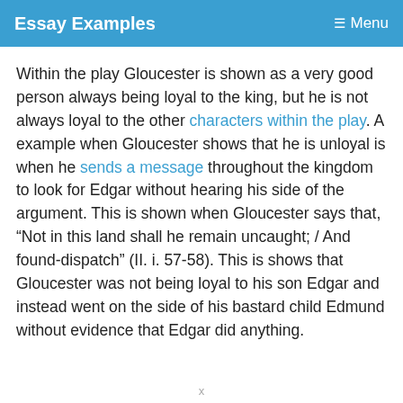Essay Examples   Menu
Within the play Gloucester is shown as a very good person always being loyal to the king, but he is not always loyal to the other characters within the play. A example when Gloucester shows that he is unloyal is when he sends a message throughout the kingdom to look for Edgar without hearing his side of the argument. This is shown when Gloucester says that, “Not in this land shall he remain uncaught; / And found-dispatch” (II. i. 57-58). This is shows that Gloucester was not being loyal to his son Edgar and instead went on the side of his bastard child Edmund without evidence that Edgar did anything.
x